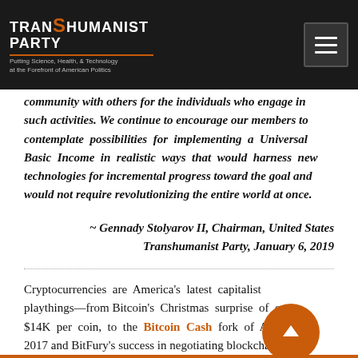TRANSHUMANIST PARTY — Putting Science, Health, & Technology at the Forefront of American Politics
community with others for the individuals who engage in such activities. We continue to encourage our members to contemplate possibilities for implementing a Universal Basic Income in realistic ways that would harness new technologies for incremental progress toward the goal and would not require revolutionizing the entire world at once.
~ Gennady Stolyarov II, Chairman, United States Transhumanist Party, January 6, 2019
Cryptocurrencies are America's latest capitalist playthings—from Bitcoin's Christmas surprise of over $14K per coin, to the Bitcoin Cash fork of August 2017 and BitFury's success in negotiating blockchain